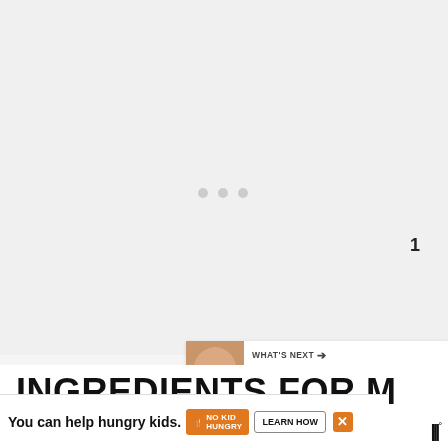[Figure (screenshot): Light gray loading/placeholder area with three small gray dots indicating loading content]
[Figure (illustration): Blue circle button with white heart icon (like button), count of 1 below, white circle share button with share icon]
[Figure (screenshot): What's Next panel with thumbnail image of food item and text 'WHAT'S NEXT → Food Sensitivities...']
INGREDIENTS FOR HOMEMADE BABY
[Figure (screenshot): Advertisement banner: 'You can help hungry kids.' with No Kid Hungry logo and LEARN HOW button, orange close X button, and site logo bottom right]